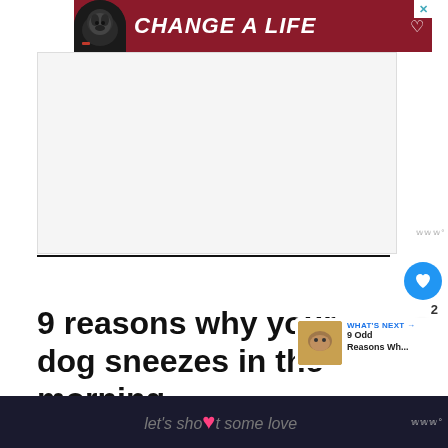[Figure (screenshot): Advertisement banner with dark red background, black dog image on left and text 'CHANGE A LIFE' with heart icon in white italic font, and close X button]
[Figure (photo): Large white/light gray advertisement area placeholder]
9 reasons why your dog sneezes in the morning
[Figure (screenshot): What's Next widget showing thumbnail of dog and text 'WHAT'S NEXT → 9 Odd Reasons Wh...']
[Figure (screenshot): Bottom bar with dark background, text 'let's show it some love' with pink heart emoji, and Moat watermark]